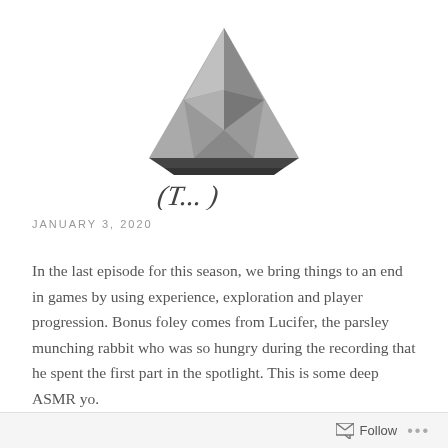[Figure (logo): A stylized triangular geometric logo (dark gray faceted triangle/crystal shape) above a cursive/script signature or brand name text]
JANUARY 3, 2020
In the last episode for this season, we bring things to an end in games by using experience, exploration and player progression. Bonus foley comes from Lucifer, the parsley munching rabbit who was so hungry during the recording that he spent the first part in the spotlight. This is some deep ASMR yo.
Follow ...